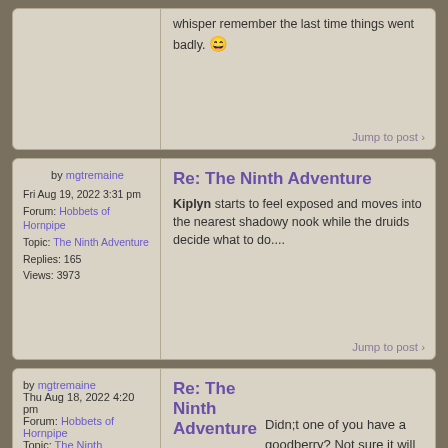whisper remember the last time things went badly. 😄
Jump to post ›
by mgtremaine
Fri Aug 19, 2022 3:31 pm
Forum: Hobbets of Hornpipe
Topic: The Ninth Adventure
Replies: 165
Views: 3973
Re: The Ninth Adventure
Kiplyn starts to feel exposed and moves into the nearest shadowy nook while the druids decide what to do....
Jump to post ›
by mgtremaine
Thu Aug 18, 2022 4:20 pm
Forum: Hobbets of Hornpipe
Topic: The Ninth Adventure
Replies: 165
Views: 3973
Re: The Ninth Adventure
Didn;t one of you have a goodberry? Not sure it will help much but maybe? I think there is not much we can do but